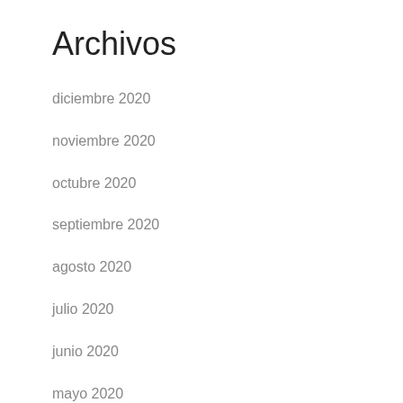Archivos
diciembre 2020
noviembre 2020
octubre 2020
septiembre 2020
agosto 2020
julio 2020
junio 2020
mayo 2020
abril 2020